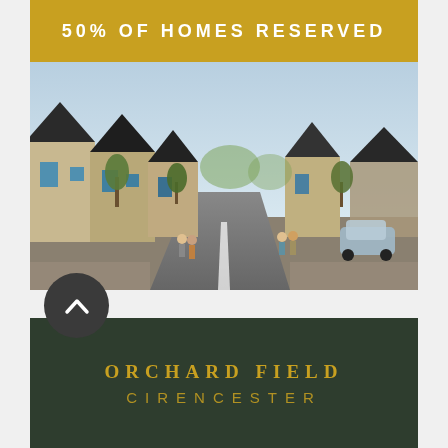50% OF HOMES RESERVED
[Figure (illustration): Rendered street view of a new housing development showing rows of stone and brick houses with dark roofs, trees, and people walking along a wide road with parked cars.]
ORCHARD FIELD
CIRENCESTER
A sustainable development of 88 distinctive new homes to the south of Cirencester.